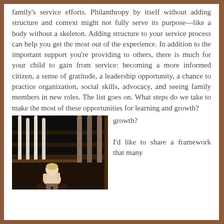family's service efforts. Philanthropy by itself without adding structure and context might not fully serve its purpose—like a body without a skeleton. Adding structure to your service process can help you get the most out of the experience. In addition to the important support you're providing to others, there is much for your child to gain from service: becoming a more informed citizen, a sense of gratitude, a leadership opportunity, a chance to practice organization, social skills, advocacy, and seeing family members in new roles. The list goes on. What steps do we take to make the most of these opportunities for learning and growth?
[Figure (photo): A young toddler/baby standing at the bottom of a dark staircase, viewed from behind, with wooden balusters visible.]
I'd like to share a framework that many